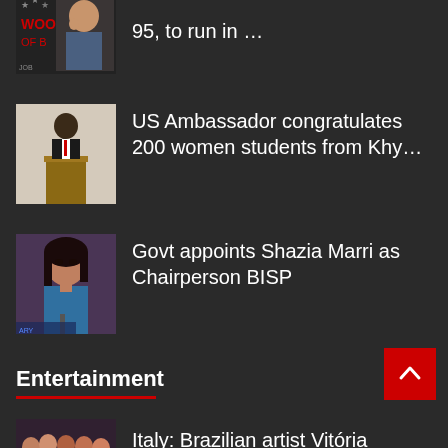[Figure (photo): Partial view of a woman near Hollywood Walk of Fame signage, partially cropped at top]
95, to run in …
[Figure (photo): Man in suit speaking at a podium]
US Ambassador congratulates 200 women students from Khy…
[Figure (photo): Woman in blue traditional dress at a press conference]
Govt appoints Shazia Marri as Chairperson BISP
Entertainment
[Figure (photo): Group of colorfully dressed people at an event]
Italy: Brazilian artist Vitória Basaia exhibits in Rome